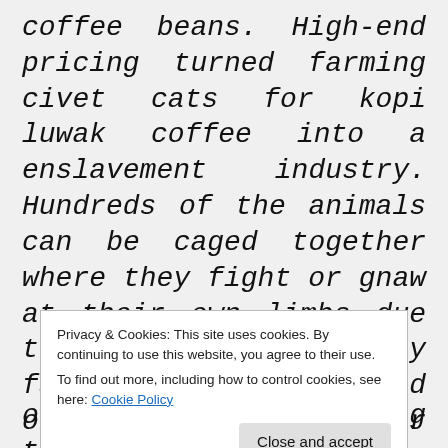coffee beans. High-end pricing turned farming civet cats for kopi luwak coffee into a enslavement industry. Hundreds of the animals can be caged together where they fight or gnaw at their own limbs due to mental distress. Many farmers are uneducated on how to care for their animals and stand by as many succumb to
Privacy & Cookies: This site uses cookies. By continuing to use this website, you agree to their use.
To find out more, including how to control cookies, see here: Cookie Policy

Close and accept
on the cliff overlooking the rocky beach